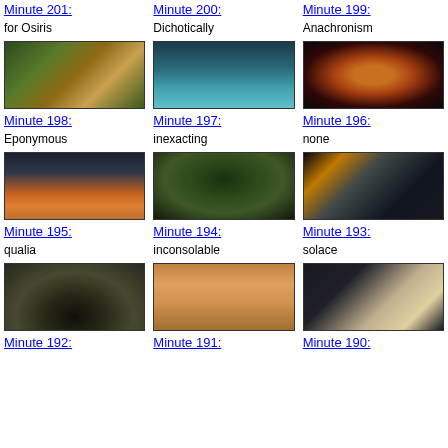Minute 201:
Minute 200:
Minute 199:
for Osiris
Dichotically
Anachronism
[Figure (photo): Outdoor scene with animal in green vegetation]
[Figure (photo): Teal/turquoise water with reflections]
[Figure (photo): Dark image with glowing orange/yellow fire or light]
Minute 198:
Minute 197:
Minute 196:
Eponymous
inexacting
none
[Figure (photo): Sunset over water with orange sky and reflections]
[Figure (photo): Looking up at a palm or fern tree canopy]
[Figure (photo): Night scene with bridge structure and yellow pole]
Minute 195:
Minute 194:
Minute 193:
qualia
inconsolable
solace
[Figure (photo): Black frame with green tree/foliage inset]
[Figure (photo): Interior of train or bus car with warm orange lighting]
[Figure (photo): Blurred interior with bright light]
Minute 192:
Minute 191:
Minute 190: